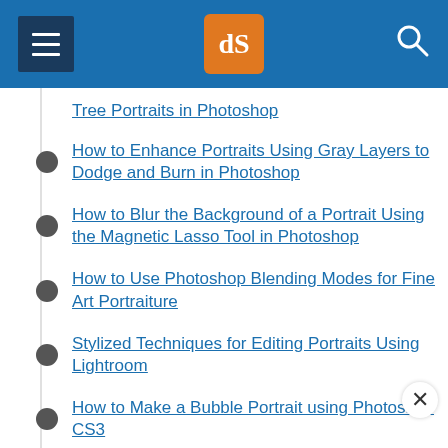[Figure (screenshot): Website header with hamburger menu icon, dPS logo in orange square, and search icon on blue background]
Tree Portraits in Photoshop
How to Enhance Portraits Using Gray Layers to Dodge and Burn in Photoshop
How to Blur the Background of a Portrait Using the Magnetic Lasso Tool in Photoshop
How to Use Photoshop Blending Modes for Fine Art Portraiture
Stylized Techniques for Editing Portraits Using Lightroom
How to Make a Bubble Portrait using Photoshop CS3